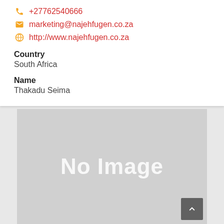+27762540666
marketing@najehfugen.co.za
http://www.najehfugen.co.za
Country
South Africa
Name
Thakadu Seima
[Figure (other): No Image placeholder — a large grey rectangle with white text reading 'No Image' centered in it, and a dark grey back-to-top button with an upward chevron in the bottom-right corner.]